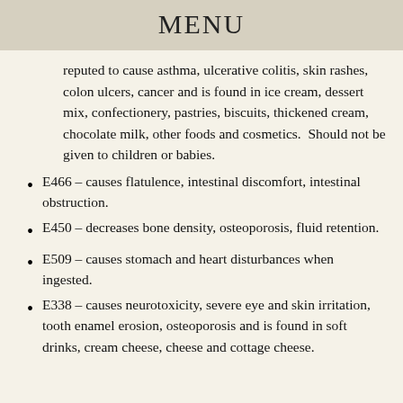MENU
reputed to cause asthma, ulcerative colitis, skin rashes, colon ulcers, cancer and is found in ice cream, dessert mix, confectionery, pastries, biscuits, thickened cream, chocolate milk, other foods and cosmetics.  Should not be given to children or babies.
E466 – causes flatulence, intestinal discomfort, intestinal obstruction.
E450 – decreases bone density, osteoporosis, fluid retention.
E509 – causes stomach and heart disturbances when ingested.
E338 – causes neurotoxicity, severe eye and skin irritation, tooth enamel erosion, osteoporosis and is found in soft drinks, cream cheese, cheese and cottage cheese.